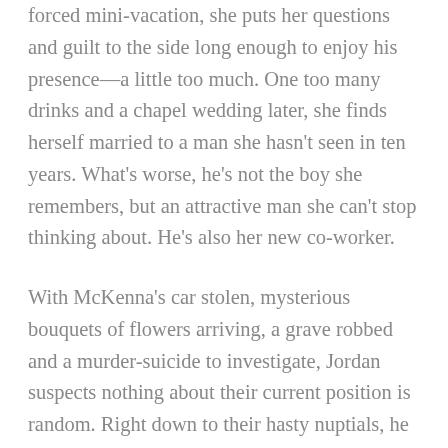forced mini-vacation, she puts her questions and guilt to the side long enough to enjoy his presence—a little too much. One too many drinks and a chapel wedding later, she finds herself married to a man she hasn't seen in ten years. What's worse, he's not the boy she remembers, but an attractive man she can't stop thinking about. He's also her new co-worker.
With McKenna's car stolen, mysterious bouquets of flowers arriving, a grave robbed and a murder-suicide to investigate, Jordan suspects nothing about their current position is random. Right down to their hasty nuptials, he knows the details are linked. He just has to prove to McKenna that he's not that same kid who left home. And he's not going down without a fight.